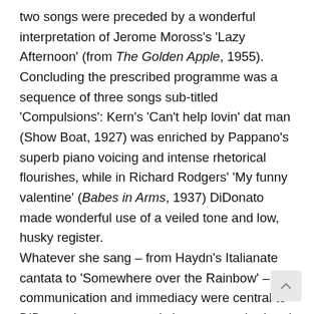two songs were preceded by a wonderful interpretation of Jerome Moross's 'Lazy Afternoon' (from The Golden Apple, 1955). Concluding the prescribed programme was a sequence of three songs sub-titled 'Compulsions': Kern's 'Can't help lovin' dat man (Show Boat, 1927) was enriched by Pappano's superb piano voicing and intense rhetorical flourishes, while in Richard Rodgers' 'My funny valentine' (Babes in Arms, 1937) DiDonato made wonderful use of a veiled tone and low, husky register. Whatever she sang – from Haydn's Italianate cantata to 'Somewhere over the Rainbow' – communication and immediacy were central to DiDonato's purpose; and she was matched and aided by Pappano, whose innate ability to embody musical sentiment and instinctive desire to communicate were wonderfully revealed during the evening. It went down a treat with the Wigmore aficionados – and if I felt as if I'd over-dosed on saccharine at the close, this did not diminish the